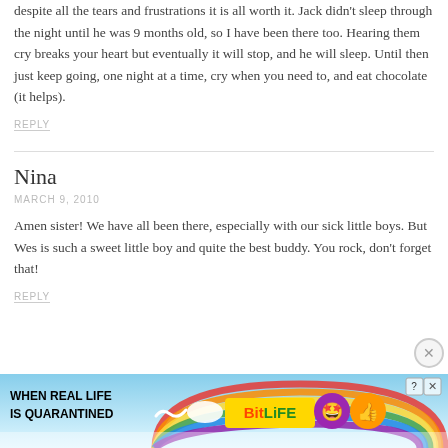despite all the tears and frustrations it is all worth it. Jack didn't sleep through the night until he was 9 months old, so I have been there too. Hearing them cry breaks your heart but eventually it will stop, and he will sleep. Until then just keep going, one night at a time, cry when you need to, and eat chocolate (it helps).
REPLY
Nina
MARCH 9, 2010
Amen sister! We have all been there, especially with our sick little boys. But Wes is such a sweet little boy and quite the best buddy. You rock, don't forget that!
REPLY
[Figure (infographic): Advertisement banner for BitLife game: 'WHEN REAL LIFE IS QUARANTINED' with colorful rainbow background, BitLife logo, emoji character icons, close and X buttons]